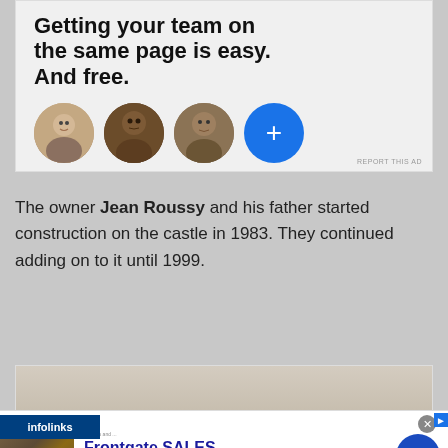[Figure (screenshot): Advertisement banner with bold text 'Getting your team on the same page is easy. And free.' and three circular profile photo avatars plus a blue plus button]
The owner Jean Roussy and his father started construction on the castle in 1983. They continued adding on to it until 1999.
[Figure (photo): Interior photo showing a ceiling or room with neutral beige/tan tones and a small dark fixture]
[Figure (screenshot): Infolinks advertisement bar at bottom with Frontgate SALES ad: '20% off sitewide plus free shipping from August 19-22' from frontgate.com]